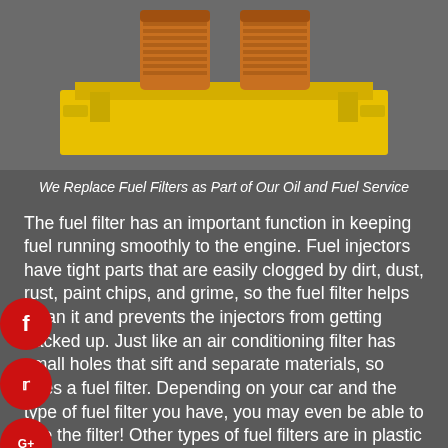[Figure (photo): Two cylindrical orange/brown fuel filters sitting on top of a yellow engine component or housing.]
We Replace Fuel Filters as Part of Our Oil and Fuel Service
The fuel filter has an important function in keeping fuel running smoothly to the engine. Fuel injectors have tight parts that are easily clogged by dirt, dust, rust, paint chips, and grime, so the fuel filter helps clean it and prevents the injectors from getting backed up. Just like an air conditioning filter has small holes that sift and separate materials, so does a fuel filter. Depending on your car and the type of fuel filter you have, you may even be able to see the filter! Other types of fuel filters are in plastic or metal containers that are connected to the fuel line. Fuel filter replacement is a vital part of regular oil and fuel service in